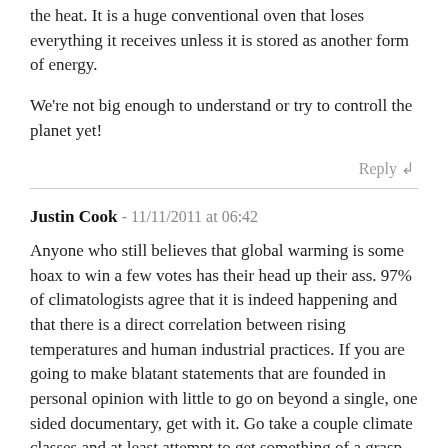the heat. It is a huge conventional oven that loses everything it receives unless it is stored as another form of energy.
We're not big enough to understand or try to controll the planet yet!
Reply ↲
Justin Cook - 11/11/2011 at 06:42
Anyone who still believes that global warming is some hoax to win a few votes has their head up their ass. 97% of climatologists agree that it is indeed happening and that there is a direct correlation between rising temperatures and human industrial practices. If you are going to make blatant statements that are founded in personal opinion with little to go on beyond a single, one sided documentary, get with it. Go take a couple climate classes and at least attempt to get something of a grasp on how the incredibly complex ecosystems of the earth function.